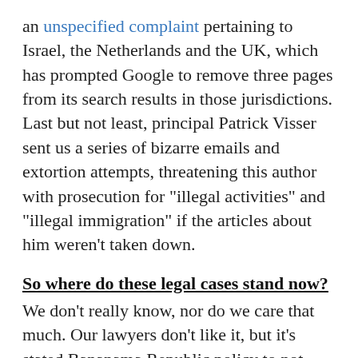an unspecified complaint pertaining to Israel, the Netherlands and the UK, which has prompted Google to remove three pages from its search results in those jurisdictions. Last but not least, principal Patrick Visser sent us a series of bizarre emails and extortion attempts, threatening this author with prosecution for "illegal activities" and "illegal immigration" if the articles about him weren't taken down.
So where do these legal cases stand now?
We don't really know, nor do we care that much. Our lawyers don't like it, but it's stated Bananama Republic policy to not attend frivolous SLAPP cases filed by foreign hucksters using Panama's notoriously corrupt and unprofessional legal system. Many have made similar attempts before the Silva Tree...